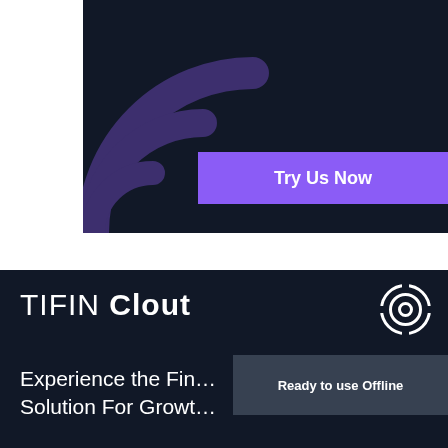[Figure (logo): Dark navy banner with purple concentric arc logo graphic on the left side]
Try Us Now
[Figure (logo): TIFIN Clout logo with circular target icon on dark navy background]
Experience the Fin... Solution For Growth...
Ready to use Offline